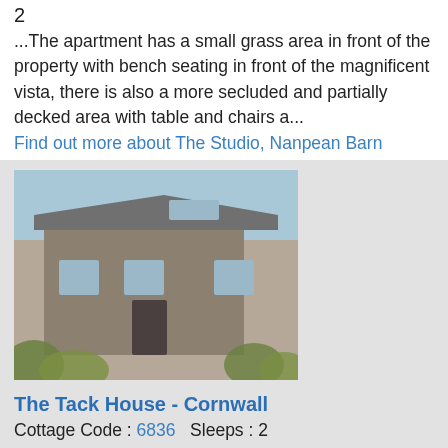2
...The apartment has a small grass area in front of the property with bench seating in front of the magnificent vista, there is also a more secluded and partially decked area with table and chairs a...
Find out more about The Studio, Nanpean Barn
[Figure (photo): Stone barn building exterior with vegetation in foreground]
The Tack House - Cornwall
Cottage Code : 6836   Sleeps : 2
...in an area of historic and Outstanding Natural Beauty, this detached, converted stable provides cosy holiday accommodation for either a couple or single person. It lies in a peaceful rural sett...
Find out more about The Tack House
[Figure (photo): Wooden cabin or chalet surrounded by green trees and vegetation]